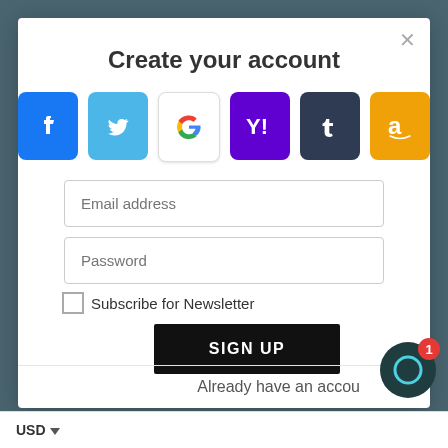Create your account
[Figure (screenshot): Social login buttons row: Facebook (blue), Twitter (light blue), Google (white/bordered), Yahoo (purple), Tumblr (dark blue-gray), Amazon (orange)]
Email address
Password
Subscribe for Newsletter
SIGN UP
Already have an accou
USD